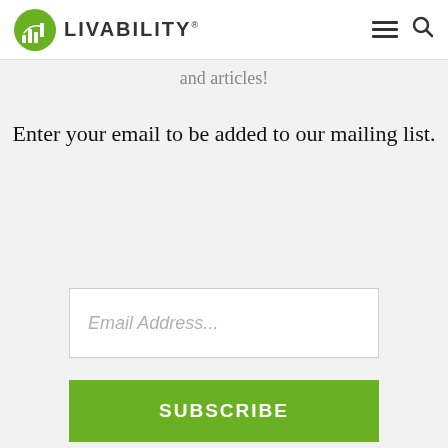LIVABILITY
and articles!
Enter your email to be added to our mailing list.
Email Address...
SUBSCRIBE